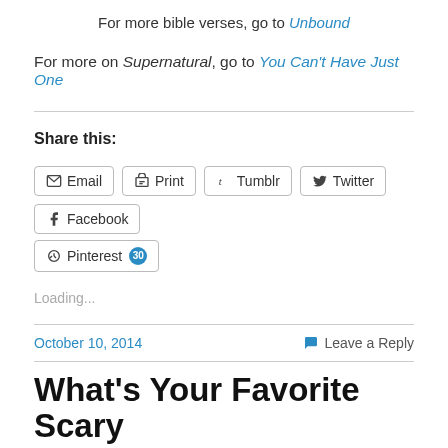For more bible verses, go to Unbound
For more on Supernatural, go to You Can't Have Just One
Share this:
Email  Print  Tumblr  Twitter  Facebook  Pinterest 30
Loading...
October 10, 2014   Leave a Reply
What's Your Favorite Scary Movie?: Scream (1996)